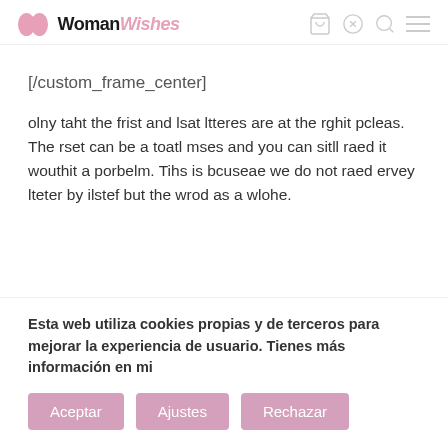WomanWishes
[/custom_frame_center]
olny taht the frist and lsat ltteres are at the rghit pcleas. The rset can be a toatl mses and you can sitll raed it wouthit a porbelm. Tihs is bcuseae we do not raed ervey lteter by ilstef but the wrod as a wlohe.
Esta web utiliza cookies propias y de terceros para mejorar la experiencia de usuario. Tienes más información en mi